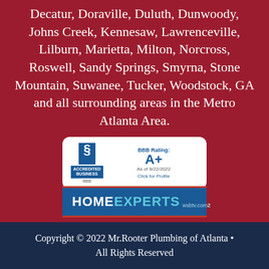Decatur, Doraville, Duluth, Dunwoody, Johns Creek, Kennesaw, Lawrenceville, Lilburn, Marietta, Milton, Norcross, Roswell, Sandy Springs, Smyrna, Stone Mountain, Suwanee, Tucker, Woodstock, GA and all surrounding areas in the Metro Atlanta Area.
[Figure (logo): BBB Accredited Business badge showing BBB Rating: A+ As of 8/22/2022 with Click for Profile link]
[Figure (logo): Home Experts wsbtv.com 2 logo badge with blue background and red border stripes]
Copyright © 2022 Mr.Rooter Plumbing of Atlanta • All Rights Reserved